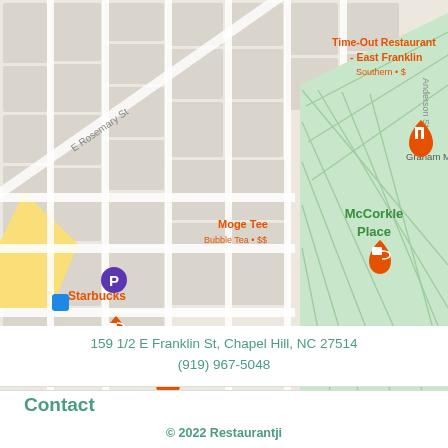[Figure (map): Google Maps showing area around 159 1/2 E Franklin St, Chapel Hill, NC 27514. Shows E Rosemary St, Anderson St, UNC Visitors Center, McCorkle Place, Battle Hall, Pettigrew Hall, Hyde Hall, Graham Me(morial), Time-Out Restaurant East Franklin (Southern $), Four Corners Grill ($$), Moge Tee Bubble Tea ($$), Starbucks, parking icon, bus stop icons, and Ackland Art Museum.]
159 1/2 E Franklin St, Chapel Hill, NC 27514
(919) 967-5048
Contact
© 2022 Restaurantji